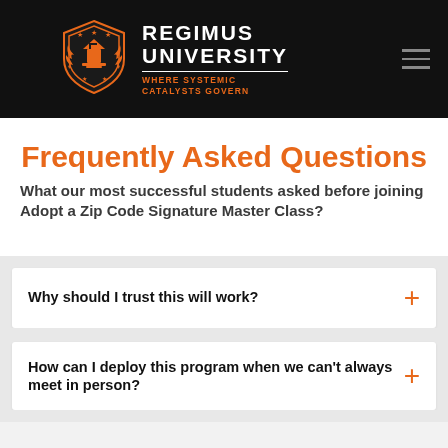[Figure (logo): Regimus University shield logo with orange torch/building emblem, laurel wreaths, and stars on black background]
REGIMUS UNIVERSITY
WHERE SYSTEMIC CATALYSTS GOVERN
Frequently Asked Questions
What our most successful students asked before joining Adopt a Zip Code Signature Master Class?
Why should I trust this will work?
How can I deploy this program when we can't always meet in person?